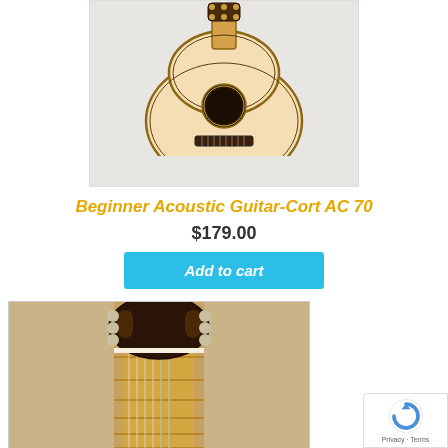[Figure (photo): Front view of a classical acoustic guitar body (Cort AC 70) on white background, showing the sound hole and bridge]
Beginner Acoustic Guitar-Cort AC 70
$179.00
Add to cart
[Figure (photo): Close-up of the headstock and neck of a classical guitar on a beige/tan background, showing tuning pegs and frets]